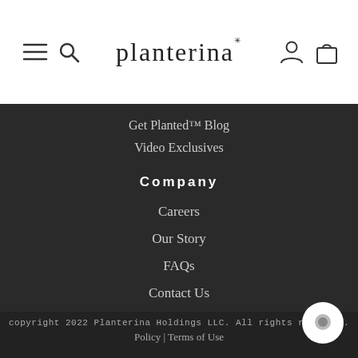planterina
Get Planted™ Blog
Video Exclusives
Company
Careers
Our Story
FAQs
Contact Us
copyright 2022 Planterina Holdings LLC. All rights reserved.
Policy | Terms of Use